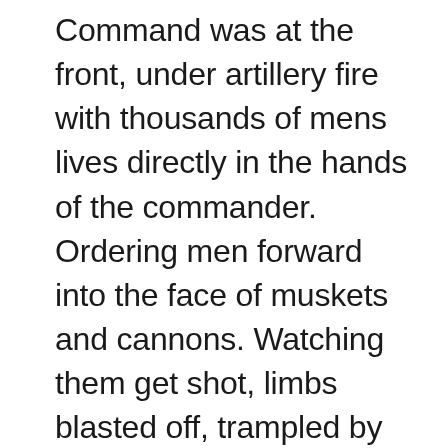Command was at the front, under artillery fire with thousands of mens lives directly in the hands of the commander. Ordering men forward into the face of muskets and cannons. Watching them get shot, limbs blasted off, trampled by horses, closing up their ranks and marching onwards. That added to the stress load on a commander